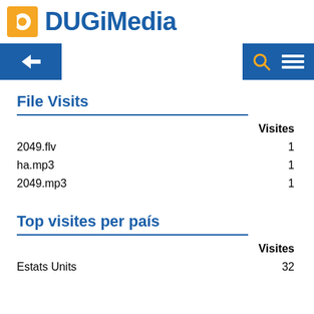DUGiMedia
File Visits
|  | Visites |
| --- | --- |
| 2049.flv | 1 |
| ha.mp3 | 1 |
| 2049.mp3 | 1 |
Top visites per país
|  | Visites |
| --- | --- |
| Estats Units | 32 |